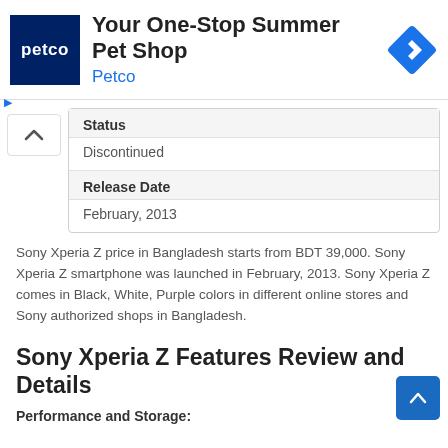[Figure (screenshot): Petco advertisement banner with logo, headline 'Your One-Stop Summer Pet Shop', subtitle 'Petco', and a blue navigation icon on the right]
| Status | Release Date |
| --- | --- |
| Discontinued |
| February, 2013 |
Sony Xperia Z price in Bangladesh starts from BDT 39,000. Sony Xperia Z smartphone was launched in February, 2013. Sony Xperia Z comes in Black, White, Purple colors in different online stores and Sony authorized shops in Bangladesh.
Sony Xperia Z Features Review and Details
Performance and Storage: